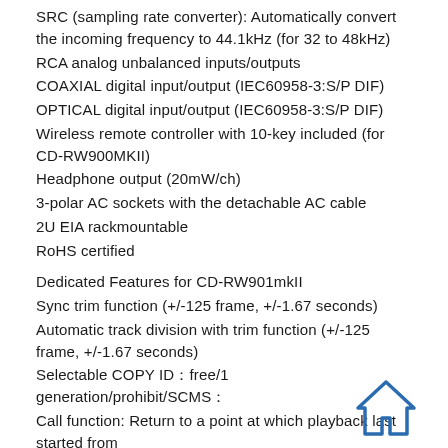SRC (sampling rate converter): Automatically convert the incoming frequency to 44.1kHz (for 32 to 48kHz)
RCA analog unbalanced inputs/outputs
COAXIAL digital input/output (IEC60958-3:S/P DIF)
OPTICAL digital input/output (IEC60958-3:S/P DIF)
Wireless remote controller with 10-key included (for CD-RW900MKII)
Headphone output (20mW/ch)
3-polar AC sockets with the detachable AC cable
2U EIA rackmountable
RoHS certified
Dedicated Features for CD-RW901mkII
Sync trim function (+/-125 frame, +/-1.67 seconds)
Automatic track division with trim function (+/-125 frame, +/-1.67 seconds)
Selectable COPY ID：free/1 generation/prohibit/SCMS：
Call function: Return to a point at which playback last started from